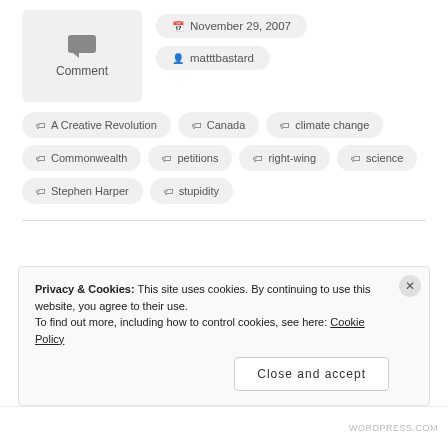[Figure (other): Comment icon box with speech bubble icon and label 'Comment']
November 29, 2007
matttbastard
A Creative Revolution
Canada
climate change
Commonwealth
petitions
right-wing
science
Stephen Harper
stupidity
Privacy & Cookies: This site uses cookies. By continuing to use this website, you agree to their use. To find out more, including how to control cookies, see here: Cookie Policy
Close and accept